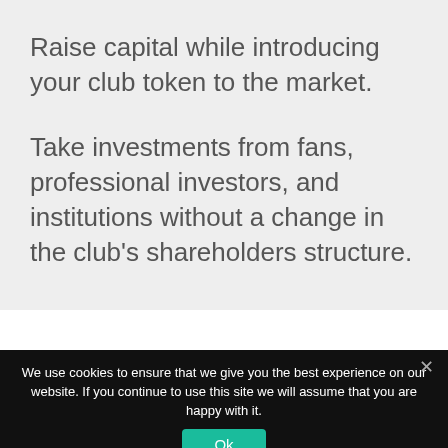Raise capital while introducing your club token to the market.
Take investments from fans, professional investors, and institutions without a change in the club's shareholders structure.
We use cookies to ensure that we give you the best experience on our website. If you continue to use this site we will assume that you are happy with it.